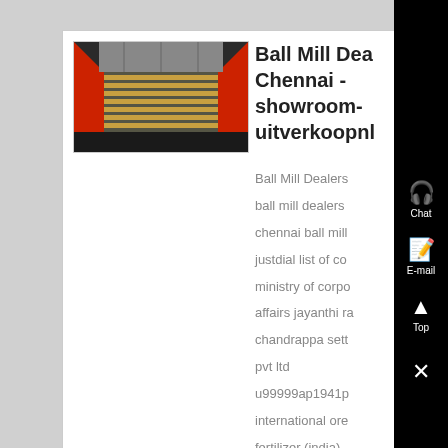[Figure (photo): Interior photo of a ball mill machine showing metal grinding components, red sides, and wooden slats/bars arranged horizontally inside the mill]
Ball Mill Dealers Chennai - showroom-uitverkoopnl
Ball Mill Dealers
ball mill dealers
chennai ball mill
justdial list of co
ministry of corpo
affairs jayanthi ra
chandrappa sett
pvt ltd
u99999ap1941p
international ore
fertilizer (india)
limited 367 unive
precision ball